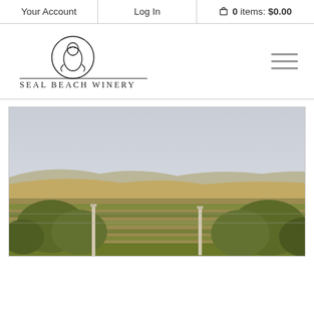Your Account | Log In | 0 items: $0.00
[Figure (logo): Seal Beach Winery logo with seal illustration inside a circle above a horizontal line, with text SEAL BEACH WINERY below]
[Figure (photo): Vineyard photo showing rows of grapevines with wooden posts in the foreground, golden/dry hills in the background under an overcast grey sky]